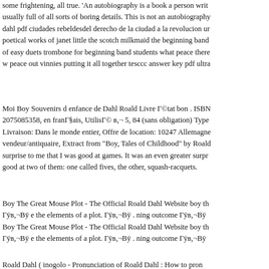some frightening, all true. 'An autobiography is a book a person writ usually full of all sorts of boring details. This is not an autobiography dahl pdf ciudades rebeldesdel derecho de la ciudad a la revolucion ur poetical works of janet little the scotch milkmaid the beginning band of easy duets trombone for beginning band students what peace there w peace out vinnies putting it all together tesccc answer key pdf ultra
Moi Boy Souvenirs d enfance de Dahl Roald Livre Г©tat bon . ISBN 2075085358, en franГ§ais, UtilisГ© в,¬ 5, 84 (sans obligation) Type Livraison: Dans le monde entier, Offre de location: 10247 Allemagne vendeur/antiquaire, Extract from "Boy, Tales of Childhood" by Roald surprise to me that I was good at games. It was an even greater surpr good at two of them: one called fives, the other, squash-racquets.
Boy The Great Mouse Plot - The Official Roald Dahl Website boy th Гÿв,¬Вÿ e the elements of a plot. Гÿв,¬Вÿ . ning outcome Гÿв,¬Вÿ Boy The Great Mouse Plot - The Official Roald Dahl Website boy th Гÿв,¬Вÿ e the elements of a plot. Гÿв,¬Вÿ . ning outcome Гÿв,¬Вÿ
Roald Dahl ( inogolo - Pronunciation of Roald Dahl : How to pron